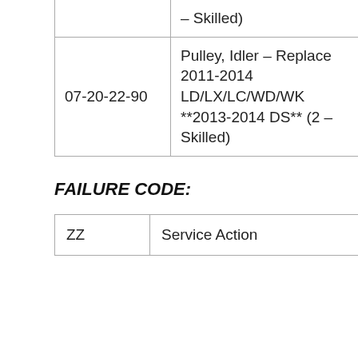| Code | Description | Type |
| --- | --- | --- |
|  | – Skilled) |  |
| 07-20-22-90 | Pulley, Idler – Replace 2011-2014 LD/LX/LC/WD/WK **2013-2014 DS** (2 – Skilled) | 1 – Engine Repair |
FAILURE CODE:
| ZZ | Service Action |